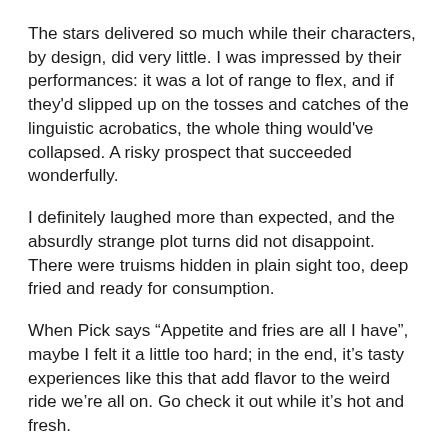The stars delivered so much while their characters, by design, did very little. I was impressed by their performances: it was a lot of range to flex, and if they'd slipped up on the tosses and catches of the linguistic acrobatics, the whole thing would've collapsed. A risky prospect that succeeded wonderfully.
I definitely laughed more than expected, and the absurdly strange plot turns did not disappoint. There were truisms hidden in plain sight too, deep fried and ready for consumption.
When Pick says “Appetite and fries are all I have”, maybe I felt it a little too hard; in the end, it’s tasty experiences like this that add flavor to the weird ride we’re all on. Go check it out while it’s hot and fresh.
What About Albert? runs at the Montreal Fringe until June